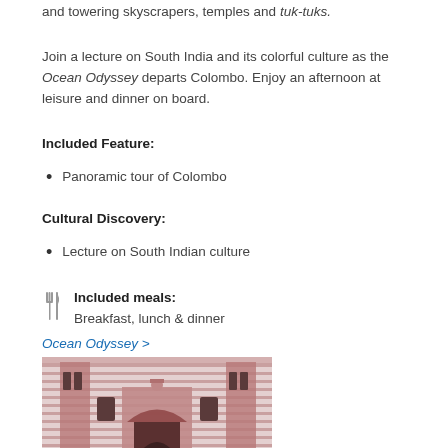and towering skyscrapers, temples and tuk-tuks.
Join a lecture on South India and its colorful culture as the Ocean Odyssey departs Colombo. Enjoy an afternoon at leisure and dinner on board.
Included Feature:
Panoramic tour of Colombo
Cultural Discovery:
Lecture on South Indian culture
Included meals: Breakfast, lunch & dinner
Ocean Odyssey >
[Figure (photo): Red and white striped ornate building facade with arched doorway and decorative architectural details]